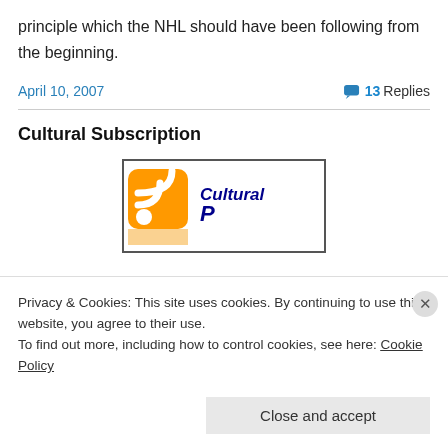principle which the NHL should have been following from the beginning.
April 10, 2007
13 Replies
Cultural Subscription
[Figure (logo): RSS feed logo with orange rounded square icon and 'Cultural P' handwritten text in blue/navy on white background with border]
Privacy & Cookies: This site uses cookies. By continuing to use this website, you agree to their use.
To find out more, including how to control cookies, see here: Cookie Policy
Close and accept